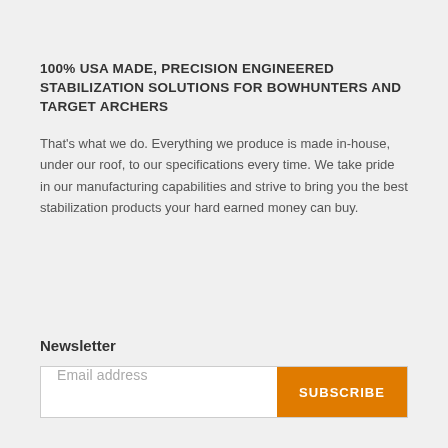100% USA MADE, PRECISION ENGINEERED STABILIZATION SOLUTIONS FOR BOWHUNTERS AND TARGET ARCHERS
That's what we do. Everything we produce is made in-house, under our roof, to our specifications every time. We take pride in our manufacturing capabilities and strive to bring you the best stabilization products your hard earned money can buy.
Newsletter